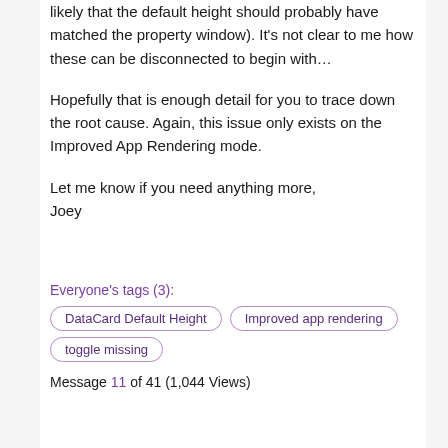likely that the default height should probably have matched the property window).  It's not clear to me how these can be disconnected to begin with…
Hopefully that is enough detail for you to trace down the root cause.  Again, this issue only exists on the Improved App Rendering mode.
Let me know if you need anything more,
Joey
Everyone's tags (3):
DataCard Default Height
Improved app rendering
toggle missing
Message 11 of 41 (1,044 Views)